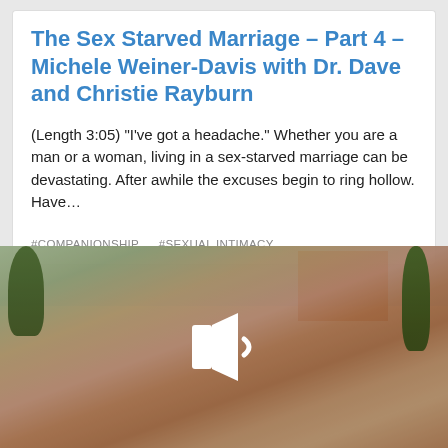The Sex Starved Marriage – Part 4 – Michele Weiner-Davis with Dr. Dave and Christie Rayburn
(Length 3:05) “I’ve got a headache.” Whether you are a man or a woman, living in a sex-starved marriage can be devastating. After awhile the excuses begin to ring hollow. Have…
#COMPANIONSHIP    #SEXUAL INTIMACY
[Figure (photo): Photo of three children (two girls and a boy) outdoors in front of a brick building with trees and grass, with a white speaker/audio icon overlaid in the center indicating an audio or video player.]